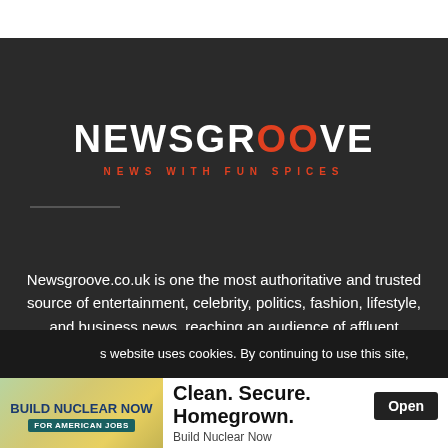[Figure (logo): Newsgroove logo with white bold text and orange OO letters, tagline NEWS WITH FUN SPICES in orange]
Newsgroove.co.uk is one the most authoritative and trusted source of entertainment, celebrity, politics, fashion, lifestyle, and business news, reaching an audience of affluent
This website uses cookies. By continuing to use this site,
[Figure (infographic): Advertisement: BUILD NUCLEAR NOW FOR AMERICAN JOBS banner on left, Clean. Secure. Homegrown. text with Open button on right, Build Nuclear Now label]